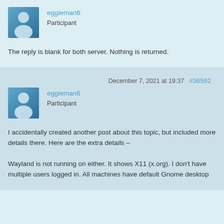[Figure (illustration): User avatar icon showing a generic person silhouette on a blue gradient square background]
eggieman6
Participant
The reply is blank for both server. Nothing is returned.
December 7, 2021 at 19:37   #36592
[Figure (illustration): User avatar icon showing a generic person silhouette on a blue gradient square background]
eggieman6
Participant
I accidentally created another post about this topic, but included more details there. Here are the extra details –

Wayland is not running on either. It shows X11 (x.org). I don't have multiple users logged in. All machines have default Gnome desktop